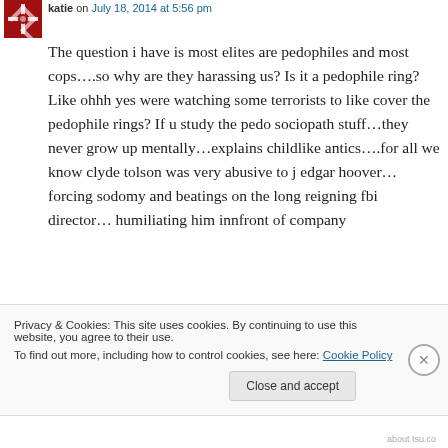[Figure (logo): Red and white decorative snowflake/geometric avatar icon]
katie on July 18, 2014 at 5:56 pm
The question i have is most elites are pedophiles and most cops….so why are they harassing us? Is it a pedophile ring? Like ohhh yes were watching some terrorists to like cover the pedophile rings? If u study the pedo sociopath stuff…they never grow up mentally…explains childlike antics….for all we know clyde tolson was very abusive to j edgar hoover…forcing sodomy and beatings on the long reigning fbi director… humiliating him innfront of company
Privacy & Cookies: This site uses cookies. By continuing to use this website, you agree to their use.
To find out more, including how to control cookies, see here: Cookie Policy
Close and accept